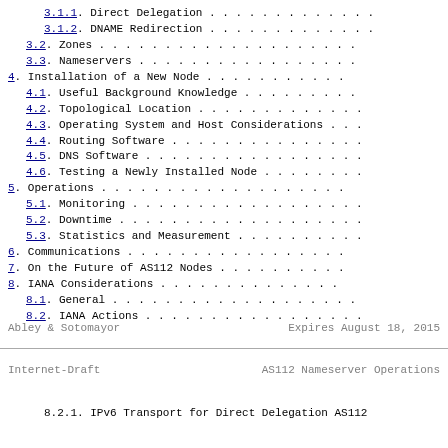3.1.1.  Direct Delegation . . . . . . . . . . . .
3.1.2.  DNAME Redirection . . . . . . . . . . . .
3.2.  Zones . . . . . . . . . . . . . . . . . . .
3.3.  Nameservers . . . . . . . . . . . . . . . .
4.  Installation of a New Node . . . . . . . . . .
4.1.  Useful Background Knowledge . . . . . . . .
4.2.  Topological Location . . . . . . . . . . . .
4.3.  Operating System and Host Considerations . .
4.4.  Routing Software . . . . . . . . . . . . . .
4.5.  DNS Software . . . . . . . . . . . . . . . .
4.6.  Testing a Newly Installed Node . . . . . . .
5.  Operations . . . . . . . . . . . . . . . . . .
5.1.  Monitoring . . . . . . . . . . . . . . . . .
5.2.  Downtime . . . . . . . . . . . . . . . . . .
5.3.  Statistics and Measurement . . . . . . . . .
6.  Communications . . . . . . . . . . . . . . . .
7.  On the Future of AS112 Nodes . . . . . . . . .
8.  IANA Considerations . . . . . . . . . . . . .
8.1.  General . . . . . . . . . . . . . . . . . .
8.2.  IANA Actions . . . . . . . . . . . . . . . .
Abley & Sotomayor          Expires August 18, 2015
Internet-Draft          AS112 Nameserver Operations
8.2.1.  IPv6 Transport for Direct Delegation AS112